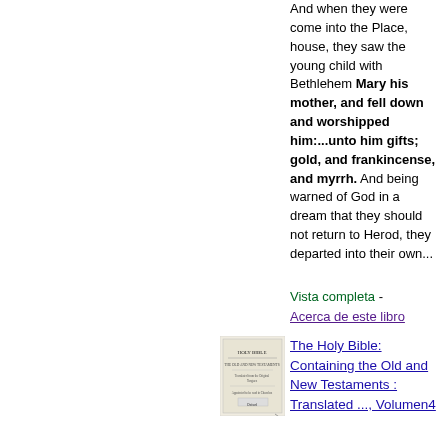And when they were come into the Place, house, they saw the young child with Bethlehem Mary his mother, and fell down and worshipped him:...unto him gifts; gold, and frankincense, and myrrh. And being warned of God in a dream that they should not return to Herod, they departed into their own...
Vista completa - Acerca de este libro
[Figure (photo): Small thumbnail of a book cover titled Holy Bible]
The Holy Bible: Containing the Old and New Testaments : Translated ..., Volumen4